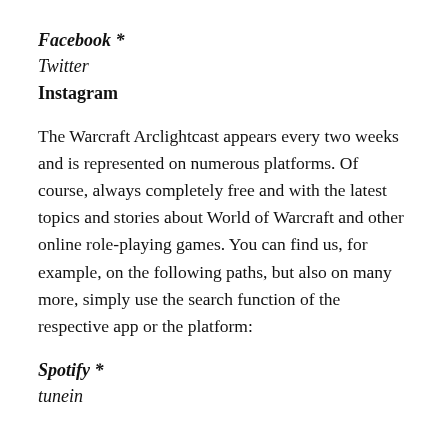Facebook *
Twitter
Instagram
The Warcraft Arclightcast appears every two weeks and is represented on numerous platforms. Of course, always completely free and with the latest topics and stories about World of Warcraft and other online role-playing games. You can find us, for example, on the following paths, but also on many more, simply use the search function of the respective app or the platform:
Spotify *
tunein